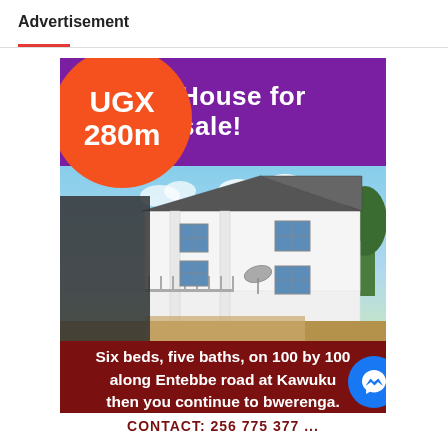Advertisement
[Figure (infographic): Real estate advertisement showing a two-storey white house for sale at UGX 280m. Six beds, five baths, on 100 by 100 along Entebbe road at Kawuku then you continue to bwerenga. The house is near the lake. Contact info partially visible at bottom.]